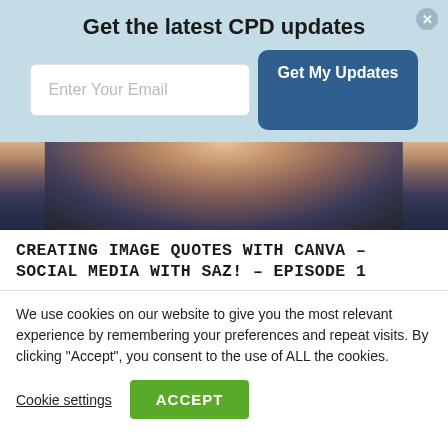Get the latest CPD updates
[Figure (screenshot): Email subscription form with input field 'Enter Your Email' and blue 'Get My Updates' button on a light blue background]
[Figure (photo): Close-up photo of a person wearing a dark navy top with a necklace, showing neck and upper chest area against a grey background]
CREATING IMAGE QUOTES WITH CANVA – SOCIAL MEDIA WITH SAZ! – EPISODE 1
We use cookies on our website to give you the most relevant experience by remembering your preferences and repeat visits. By clicking "Accept", you consent to the use of ALL the cookies.
Cookie settings
ACCEPT